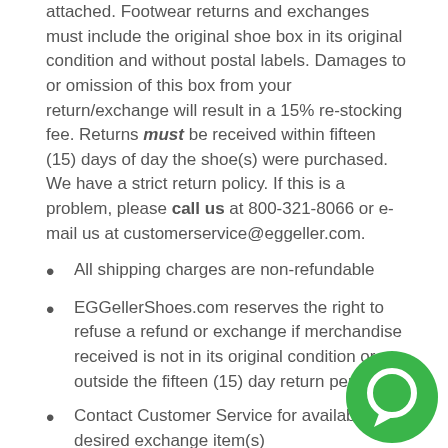attached. Footwear returns and exchanges must include the original shoe box in its original condition and without postal labels. Damages to or omission of this box from your return/exchange will result in a 15% re-stocking fee. Returns must be received within fifteen (15) days of day the shoe(s) were purchased. We have a strict return policy. If this is a problem, please call us at 800-321-8066 or e-mail us at customerservice@eggeller.com.
All shipping charges are non-refundable
EGGellerShoes.com reserves the right to refuse a refund or exchange if merchandise received is not in its original condition or outside the fifteen (15) day return period
Contact Customer Service for availability of desired exchange item(s)
Returns on special orders are not accepted
Ship your return or exchange through an insured trackable carrier, as EGGellerShoes.com cannot